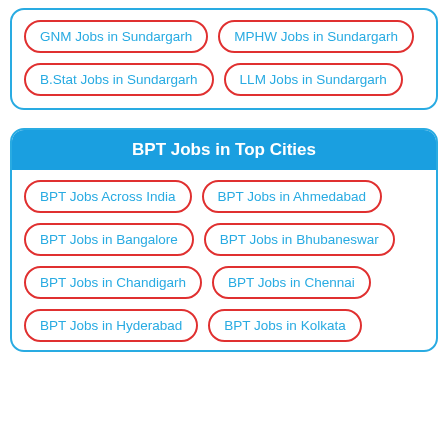GNM Jobs in Sundargarh
MPHW Jobs in Sundargarh
B.Stat Jobs in Sundargarh
LLM Jobs in Sundargarh
BPT Jobs in Top Cities
BPT Jobs Across India
BPT Jobs in Ahmedabad
BPT Jobs in Bangalore
BPT Jobs in Bhubaneswar
BPT Jobs in Chandigarh
BPT Jobs in Chennai
BPT Jobs in Hyderabad
BPT Jobs in Kolkata